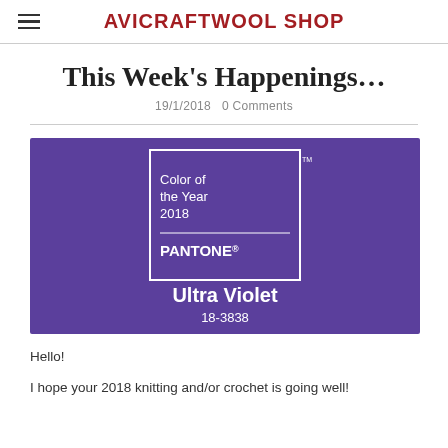AVICRAFTWOOL SHOP
This Week's Happenings…
19/1/2018   0 Comments
[Figure (illustration): Pantone Color of the Year 2018 – Ultra Violet 18-3838. Purple background with a white-bordered box showing 'Color of the Year 2018 PANTONE®' and below it 'Ultra Violet 18-3838'.]
Hello!
I hope your 2018 knitting and/or crochet is going well!